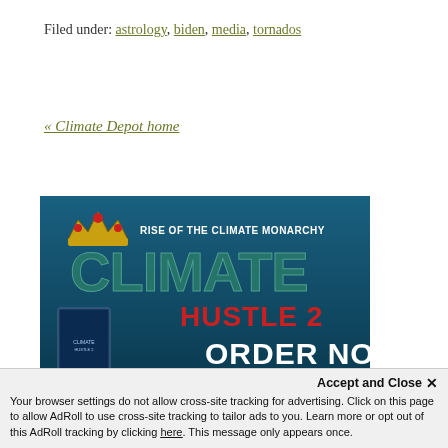Filed under: astrology, biden, media, tornados
« Climate Depot home
[Figure (illustration): Advertisement banner for 'Climate Hustle 2: Rise of the Climate Monarchy' with large stylized text and 'ORDER NOW' call to action, showing a Blu-ray/DVD product image on a blue background.]
Accept and Close ✕
Your browser settings do not allow cross-site tracking for advertising. Click on this page to allow AdRoll to use cross-site tracking to tailor ads to you. Learn more or opt out of this AdRoll tracking by clicking here. This message only appears once.